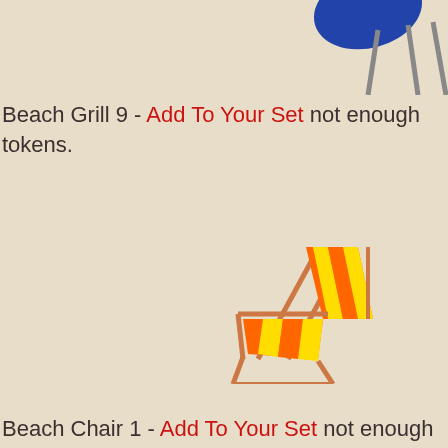[Figure (illustration): Partial view of a beach grill/umbrella item — blue umbrella top and grey metal legs visible at top-right corner]
Beach Grill 9 - Add To Your Set not enough tokens.
[Figure (illustration): Beach chair / deck chair with orange and yellow stripes, wooden frame, positioned at bottom-right of the page]
Beach Chair 1 - Add To Your Set not enough